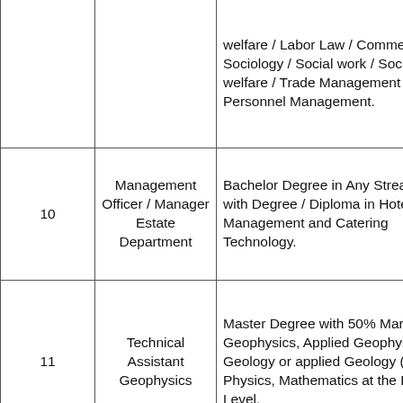| No. | Post | Qualification |
| --- | --- | --- |
|  |  | welfare / Labor Law / Commerce / Sociology / Social work / Social welfare / Trade Management / Personnel Management. |
| 10 | Management Officer / Manager Estate Department | Bachelor Degree in Any Stream with Degree / Diploma in Hotel Management and Catering Technology. |
| 11 | Technical Assistant Geophysics | Master Degree with 50% Marks Geophysics, Applied Geophysics, Geology or applied Geology (with Physics, Mathematics at the B.Sc. Level. |
| 12 | Tax Assessment | Bachelor Degree in Economics OR... |